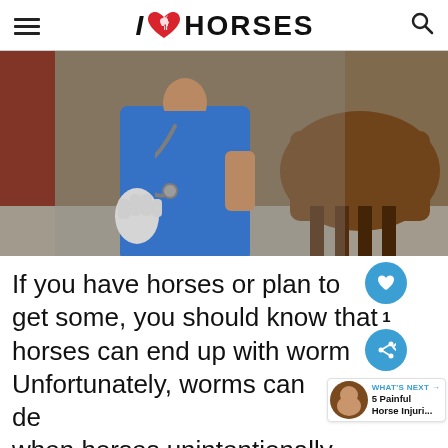I ♥ HORSES
[Figure (photo): A veterinarian in blue scrubs and a stethoscope wearing white gloves standing next to a brown horse in a stable setting]
If you have horses or plan to get some, you should know that horses can end up with worms. Unfortunately, worms can develop when horses unintentionally